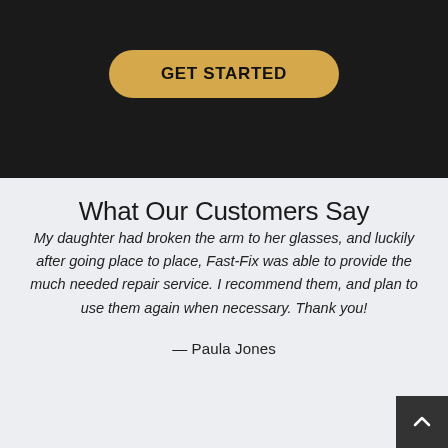[Figure (screenshot): Dark header section with a golden/tan rounded button labeled GET STARTED]
What Our Customers Say
My daughter had broken the arm to her glasses, and luckily after going place to place, Fast-Fix was able to provide the much needed repair service. I recommend them, and plan to use them again when necessary. Thank you!
— Paula Jones